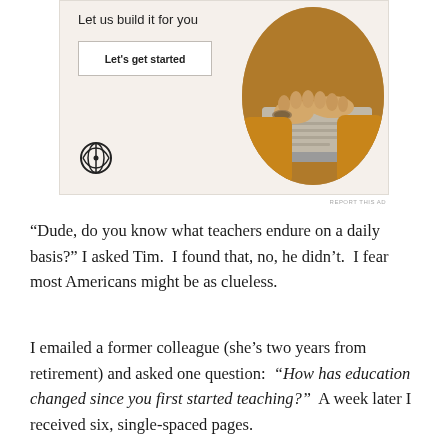[Figure (other): Advertisement banner with WordPress logo, 'Let us build it for you' text, 'Let's get started' button, and a circular photo of hands typing on a laptop]
REPORT THIS AD
“Dude, do you know what teachers endure on a daily basis?” I asked Tim.  I found that, no, he didn’t.  I fear most Americans might be as clueless.
I emailed a former colleague (she’s two years from retirement) and asked one question:  “How has education changed since you first started teaching?”  A week later I received six, single-spaced pages.